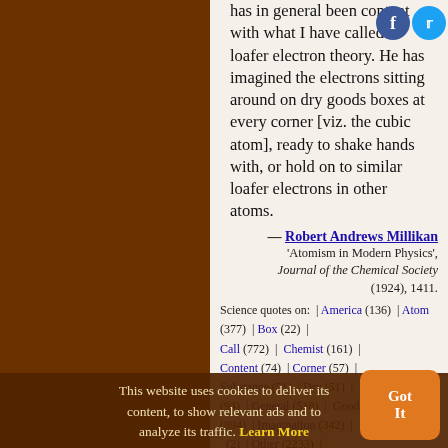has in general been content with what I have called a loafer electron theory. He has imagined the electrons sitting around on dry goods boxes at every corner [viz. the cubic atom], ready to shake hands with, or hold on to similar loafer electrons in other atoms.
— Robert Andrews Millikan 'Atomism in Modern Physics', Journal of the Chemical Society (1924), 1411.
Science quotes on: | America (136) | Atom (377) | Box (22) | Call (772) | Chemist (161) | Content (74) | Corner (57) | Substance (57) | Dry (51) | Electron (94) | General (518) | Good (2233) | Hand (143) | Idea (865) | Imagination (342) | Other (2) | Other (2233) | Shake (42) | Sit (49) | Theory
This website uses cookies to deliver its content, to show relevant ads and to analyze its traffic. Learn More